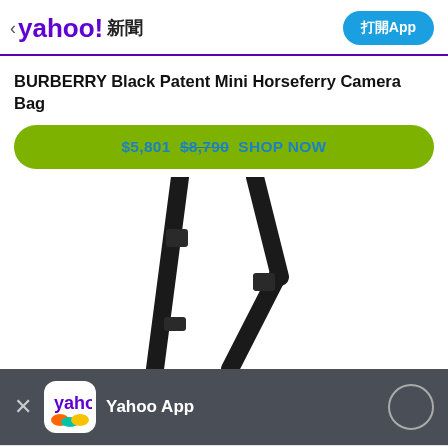< yahoo! 新聞   打開App
BURBERRY Black Patent Mini Horseferry Camera Bag
$5,801  $8,790 SHOP NOW
[Figure (photo): Product image showing straps of a black Burberry camera bag on white background]
Yahoo App
Chat icon, WhatsApp share, Facebook share, link copy, bookmark icons